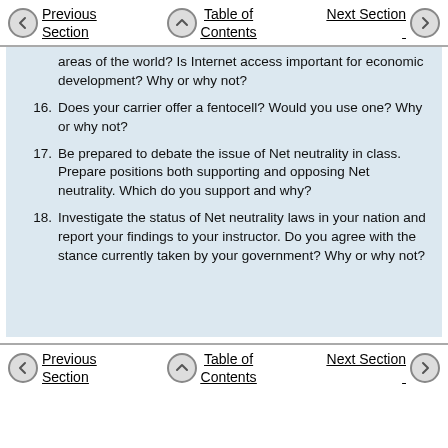Previous Section   Table of Contents   Next Section
areas of the world? Is Internet access important for economic development? Why or why not?
16. Does your carrier offer a fentocell? Would you use one? Why or why not?
17. Be prepared to debate the issue of Net neutrality in class. Prepare positions both supporting and opposing Net neutrality. Which do you support and why?
18. Investigate the status of Net neutrality laws in your nation and report your findings to your instructor. Do you agree with the stance currently taken by your government? Why or why not?
Previous Section   Table of Contents   Next Section